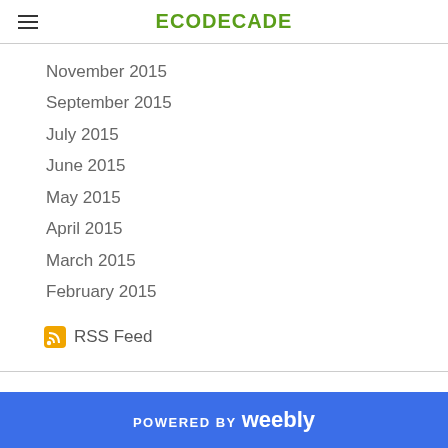ECODECADE
November 2015
September 2015
July 2015
June 2015
May 2015
April 2015
March 2015
February 2015
RSS Feed
POWERED BY weebly